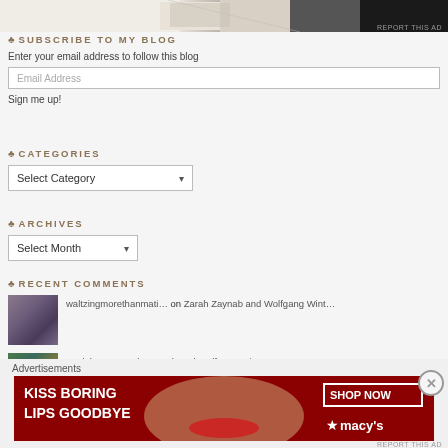[Figure (photo): Partial view of photos/images at top of page, dark background on right side]
♣ SUBSCRIBE TO MY BLOG
Enter your email address to follow this blog
Email Address
Sign me up!
♣ CATEGORIES
Select Category
♣ ARCHIVES
Select Month
♣ RECENT COMMENTS
waltzingmorethanmati… on Zarah Zaynab and Wolfgang Wint…
Madelyn on Zarah Zaynab and Wolfgang Wint…
Advertisements
[Figure (photo): Macy's advertisement banner: KISS BORING LIPS GOODBYE with woman's face, SHOP NOW button, Macy's star logo]